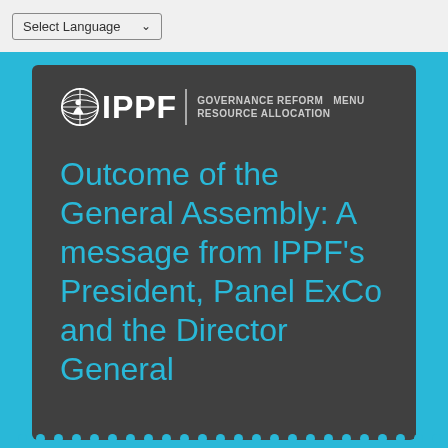Select Language
[Figure (logo): IPPF globe logo with IPPF text and navigation links: GOVERNANCE REFORM, MENU, RESOURCE ALLOCATION]
Outcome of the General Assembly: A message from IPPF's President, Panel ExCo and the Director General